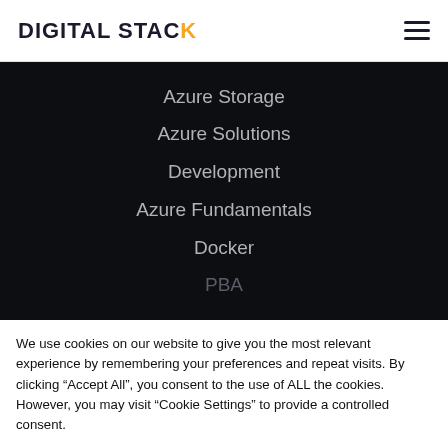DIGITAL STACK
Azure Storage
Azure Solutions
Development
Azure Fundamentals
Docker
PBA
We use cookies on our website to give you the most relevant experience by remembering your preferences and repeat visits. By clicking “Accept All”, you consent to the use of ALL the cookies. However, you may visit “Cookie Settings” to provide a controlled consent.
Cookie Settings | Accept All